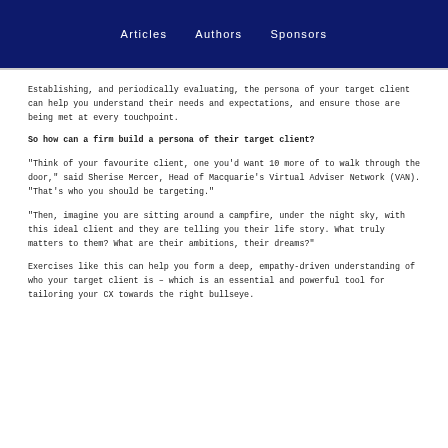Articles   Authors   Sponsors
Establishing, and periodically evaluating, the persona of your target client can help you understand their needs and expectations, and ensure those are being met at every touchpoint.
So how can a firm build a persona of their target client?
"Think of your favourite client, one you'd want 10 more of to walk through the door," said Sherise Mercer, Head of Macquarie's Virtual Adviser Network (VAN). "That's who you should be targeting."
"Then, imagine you are sitting around a campfire, under the night sky, with this ideal client and they are telling you their life story. What truly matters to them? What are their ambitions, their dreams?"
Exercises like this can help you form a deep, empathy-driven understanding of who your target client is – which is an essential and powerful tool for tailoring your CX towards the right bullseye.